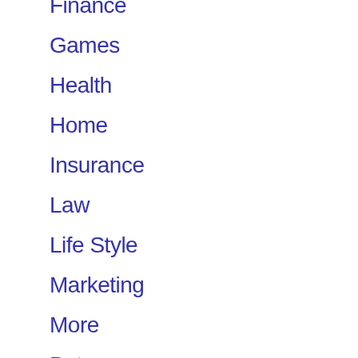Finance
Games
Health
Home
Insurance
Law
Life Style
Marketing
More
Pets
SEO
Social Media
Sports
Tech